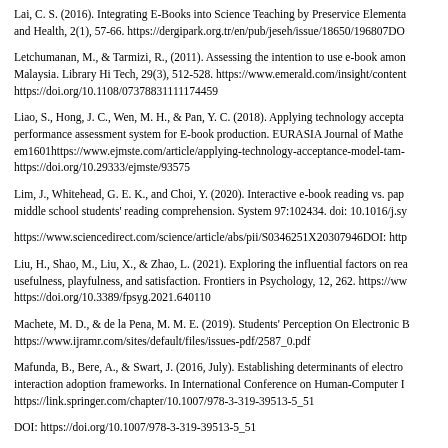Lai, C. S. (2016). Integrating E-Books into Science Teaching by Preservice Elementary Teachers. Journal of Science Education and Health, 2(1), 57-66. https://dergipark.org.tr/en/pub/jeseh/issue/18650/196807DO
Letchumanan, M., & Tarmizi, R., (2011). Assessing the intention to use e-book among engineering undergraduates in Malaysia. Library Hi Tech, 29(3), 512-528. https://www.emerald.com/insight/content/doi/10.1108/07378831111174459/full/html https://doi.org/10.1108/07378831111174459
Liao, S., Hong, J. C., Wen, M. H., & Pan, Y. C. (2018). Applying technology acceptance model (TAM) to explore users' behavioral intention to adopt a performance assessment system for E-book production. EURASIA Journal of Mathematics, Science and Technology Education, 14(10), em1601https://www.ejmste.com/article/applying-technology-acceptance-model-tam-to-explore-users-behavioral-intention-to-adopt-a- https://doi.org/10.29333/ejmste/93575
Lim, J., Whitehead, G. E. K., and Choi, Y. (2020). Interactive e-book reading vs. paper-based reading: Comparing the effects on middle school students' reading comprehension. System 97:102434. doi: 10.1016/j.sy
https://www.sciencedirect.com/science/article/abs/pii/S0346251X20307946DOI: http
Liu, H., Shao, M., Liu, X., & Zhao, L. (2021). Exploring the influential factors on readers' behaviors of e-book services: perceived usefulness, playfulness, and satisfaction. Frontiers in Psychology, 12, 262. https://ww https://doi.org/10.3389/fpsyg.2021.640110
Machete, M. D., & de la Pena, M. M. E. (2019). Students' Perception On Electronic Books. https://www.ijramr.com/sites/default/files/issues-pdf/2587_0.pdf
Mafunda, B., Bere, A., & Swart, J. (2016, July). Establishing determinants of electronic book adoption using unified and human-computer interaction adoption frameworks. In International Conference on Human-Computer Interaction (pp. 131-141). Springer, Cham. https://link.springer.com/chapter/10.1007/978-3-319-39513-5_51
DOI: https://doi.org/10.1007/978-3-319-39513-5_51
Mahamara, G., & Gai, G. (2018). E-books for easy access and interactive learning...